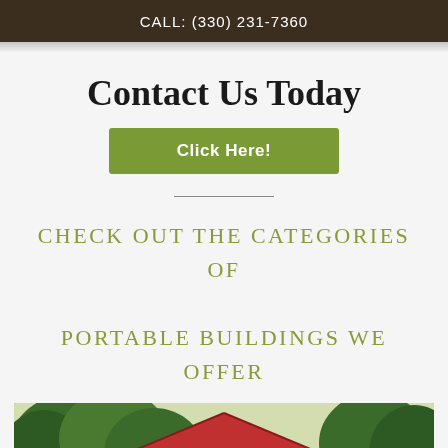CALL: (330) 231-7360
Contact Us Today
Click Here!
CHECK OUT THE CATEGORIES OF PORTABLE BUILDINGS WE OFFER
[Figure (photo): Photo of a barn with a red metal roof surrounded by green trees]